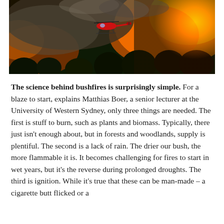[Figure (photo): Aerial photograph of a large bushfire with flames and smoke in a forested area, with a red helicopter flying through the smoke above the burning trees.]
The science behind bushfires is surprisingly simple. For a blaze to start, explains Matthias Boer, a senior lecturer at the University of Western Sydney, only three things are needed. The first is stuff to burn, such as plants and biomass. Typically, there just isn't enough about, but in forests and woodlands, supply is plentiful. The second is a lack of rain. The drier our bush, the more flammable it is. It becomes challenging for fires to start in wet years, but it's the reverse during prolonged droughts. The third is ignition. While it's true that these can be man-made – a cigarette butt flicked or a